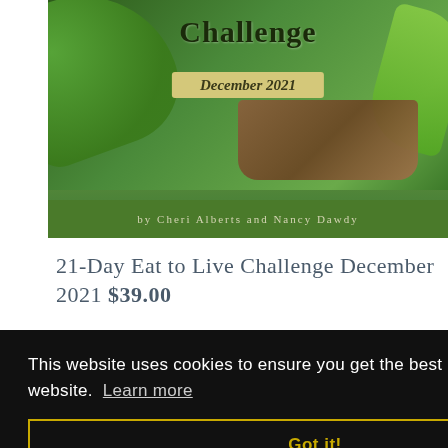[Figure (photo): Book/program cover for '21-Day Eat to Live Challenge December 2021' by Cheri Alberts and Nancy Dawdy. Shows green leaves, a wicker basket, with the title 'Challenge' visible at top, date banner reading 'December 2021', and a green footer bar with author names.]
21-Day Eat to Live Challenge December 2021 $39.00
This website uses cookies to ensure you get the best experience on our website. Learn more
Got it!